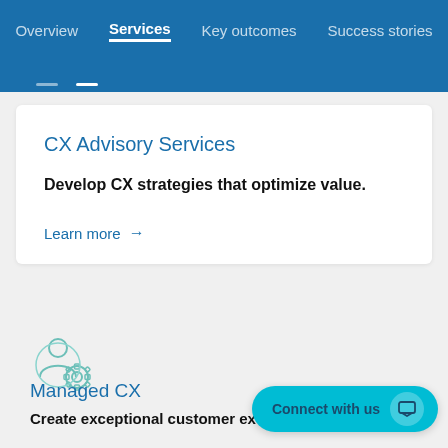Overview  Services  Key outcomes  Success stories
CX Advisory Services
Develop CX strategies that optimize value.
Learn more →
[Figure (illustration): Icon of a person silhouette with a gear/settings cog, rendered in teal outline style, representing managed services or user configuration]
Managed CX
Create exceptional customer ex... contact center evolvement and by capturing the
Connect with us